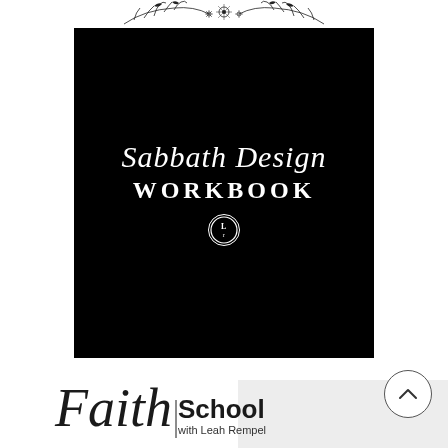[Figure (illustration): Decorative floral line drawing at the top of the page]
[Figure (logo): Black square cover for Sabbath Design Workbook with script and serif typography and small circular badge logo]
[Figure (logo): Faith School with Leah Rempel logo at bottom with script Faith word and bold School text]